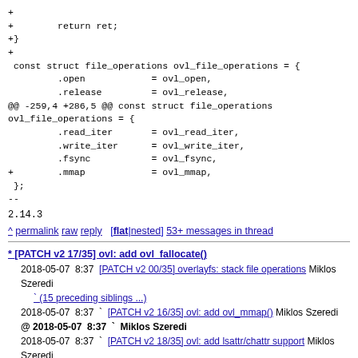diff code block showing file_operations struct with mmap addition
2.14.3
^ permalink raw reply [flat|nested] 53+ messages in thread
* [PATCH v2 17/35] ovl: add ovl_fallocate()
2018-05-07 8:37 [PATCH v2 00/35] overlayfs: stack file operations Miklos Szeredi
(15 preceding siblings ...)
2018-05-07 8:37 [PATCH v2 16/35] ovl: add ovl_mmap() Miklos Szeredi
@ 2018-05-07 8:37 Miklos Szeredi
2018-05-07 8:37 [PATCH v2 18/35] ovl: add lsattr/chattr support Miklos Szeredi